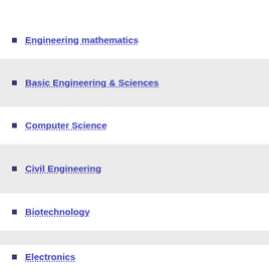Engineering mathematics
Basic Engineering & Sciences
Computer Science
Civil Engineering
Biotechnology
Chemical Engineering
Electronics